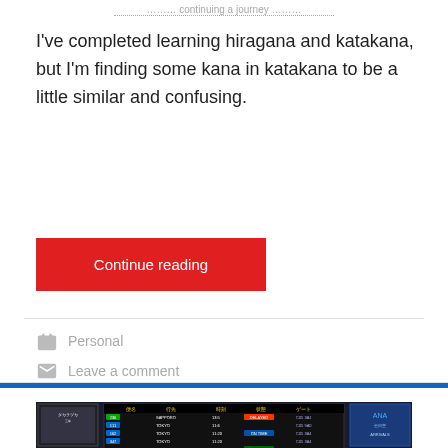…continuing a journey…
I've completed learning hiragana and katakana, but I'm finding some kana in katakana to be a little similar and confusing.
Continue reading
Personal
Leave a comment
[Figure (photo): Airport or train station departure board with Japanese text showing flight/train arrival information, including 到着 (arrivals), destinations listing TOKYO multiple times, with times and gate information. Side monitors and display screens visible. Bottom of image shows colorful merchandise or bags.]